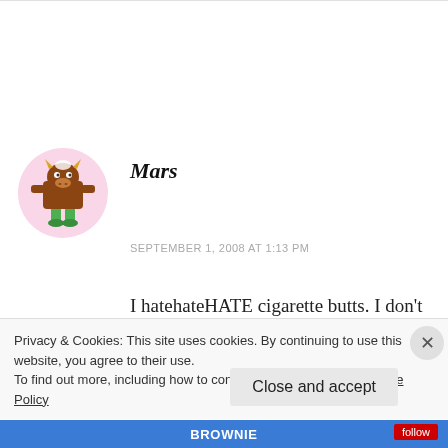[Figure (illustration): Cartoon avatar of a brown bull/monster character with green legs and yellow horns, inside a pink circle]
Mars
SEPTEMBER 1, 2008 AT 1:13 PM
I hatehateHATE cigarette butts. I don't smoke ( I think it's vile), so maybe my feelings are prejudiced, but what makes these people feel
Privacy & Cookies: This site uses cookies. By continuing to use this website, you agree to their use.
To find out more, including how to control cookies, see here: Cookie Policy
Close and accept